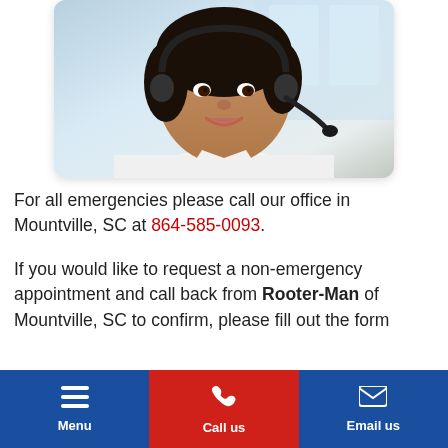[Figure (photo): Woman with a headset microphone smiling, wearing a white shirt, customer service representative photo]
For all emergencies please call our office in Mountville, SC at 864-585-0093.
If you would like to request a non-emergency appointment and call back from Rooter-Man of Mountville, SC to confirm, please fill out the form
Menu | Call us | Email us